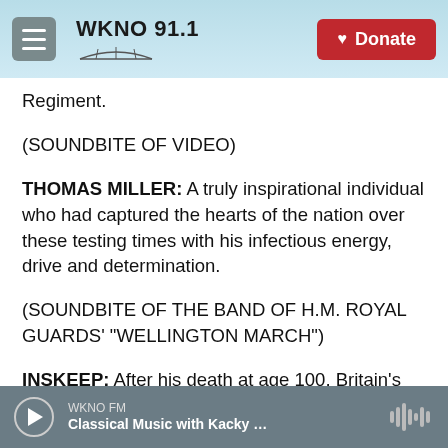WKNO 91.1 — Donate
Regiment.
(SOUNDBITE OF VIDEO)
THOMAS MILLER: A truly inspirational individual who had captured the hearts of the nation over these testing times with his infectious energy, drive and determination.
(SOUNDBITE OF THE BAND OF H.M. ROYAL GUARDS' "WELLINGTON MARCH")
INSKEEP: After his death at age 100, Britain's National Health Service put out a one-line tweet -
WKNO FM — Classical Music with Kacky …